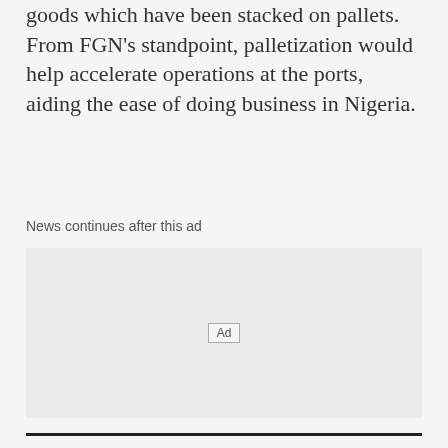goods which have been stacked on pallets. From FGN's standpoint, palletization would help accelerate operations at the ports, aiding the ease of doing business in Nigeria.
News continues after this ad
[Figure (other): Advertisement placeholder area with 'Ad' label in center]